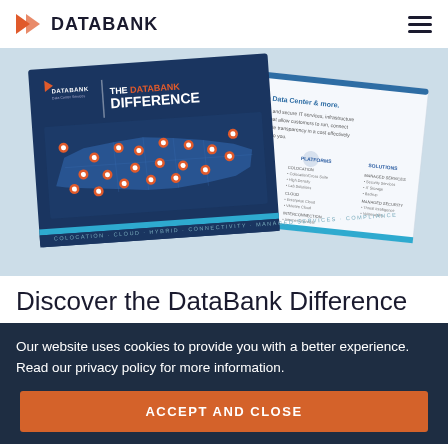DATABANK
[Figure (illustration): Two overlapping brochures/booklets for 'The DataBank Difference' showing a US map with data center locations and a service list page, on a light blue background.]
Discover the DataBank Difference
Our website uses cookies to provide you with a better experience. Read our privacy policy for more information.
ACCEPT AND CLOSE